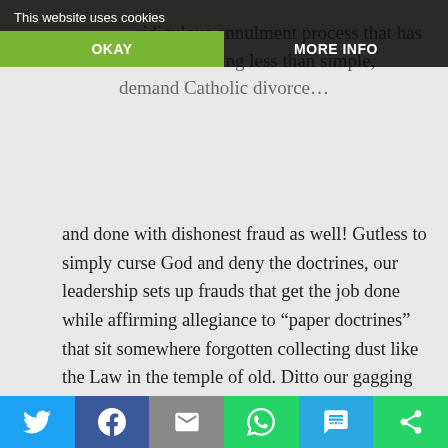ridiculous annulment process that has become nothing less than simple, demand Catholic divorce…
This website uses cookies | OKAY | MORE INFO
and done with dishonest fraud as well! Gutless to simply curse God and deny the doctrines, our leadership sets up frauds that get the job done while affirming allegiance to “paper doctrines” that sit somewhere forgotten collecting dust like the Law in the temple of old. Ditto our gagging and continuous references to the “dignity” of homosexuals and the denial of the death penalty….when Pope Pius V combined them both in the call to have
Twitter | Facebook | Email | WhatsApp | SMS | Other